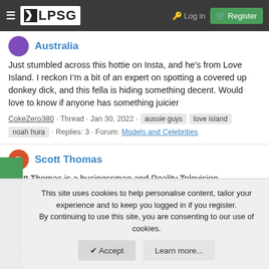LPSG — Log in | Register
Australia
Just stumbled across this hottie on Insta, and he’s from Love Island. I reckon I’m a bit of an expert on spotting a covered up donkey dick, and this fella is hiding something decent. Would love to know if anyone has something juicier
CokeZero380 · Thread · Jan 30, 2022 · aussie guys love island noah hura · Replies: 3 · Forum: Models and Celebrities
Scott Thomas
Scott Thomas is a businessman and Reality Television
This site uses cookies to help personalise content, tailor your experience and to keep you logged in if you register.
By continuing to use this site, you are consenting to our use of cookies.